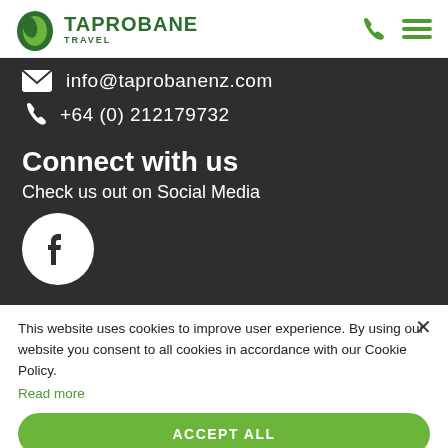[Figure (logo): Taprobane Travel logo with green leaf icon and brand name]
info@taprobanenz.com
+64 (0) 212179732
Connect with us
Check us out on Social Media
[Figure (logo): Facebook icon - white F on dark circle]
This website uses cookies to improve user experience. By using our website you consent to all cookies in accordance with our Cookie Policy.
Read more
ACCEPT ALL